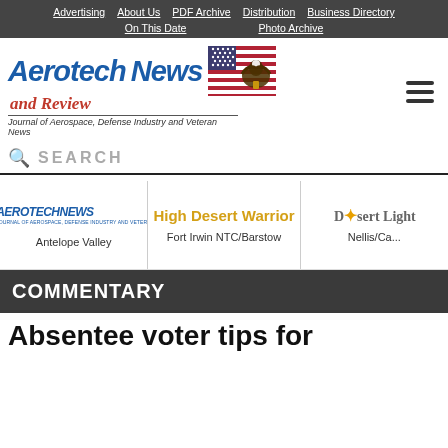Advertising | About Us | PDF Archive | Distribution | Business Directory | On This Date | Photo Archive
[Figure (logo): Aerotech News and Review logo with American flag/eagle graphic and tagline: Journal of Aerospace, Defense Industry and Veteran News]
SEARCH
[Figure (logo): Aerotech News logo - Antelope Valley edition]
[Figure (logo): High Desert Warrior - Fort Irwin NTC/Barstow edition]
[Figure (logo): Desert Light - Nellis/C... edition]
COMMENTARY
Absentee voter tips for